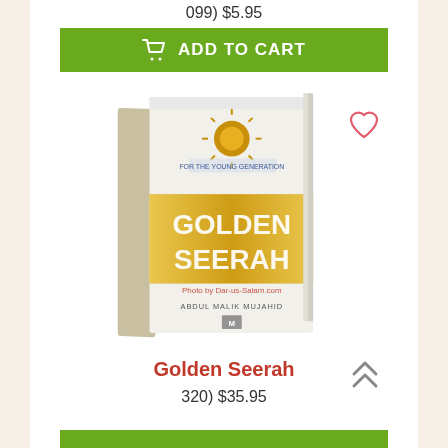099) $5.95
ADD TO CART
[Figure (photo): Book cover of 'Golden Seerah' by Abdul Malik Mujahid, white hardcover with gold band, watermarked 'Photo by Dar-us-Salam.com']
Golden Seerah
320) $35.95